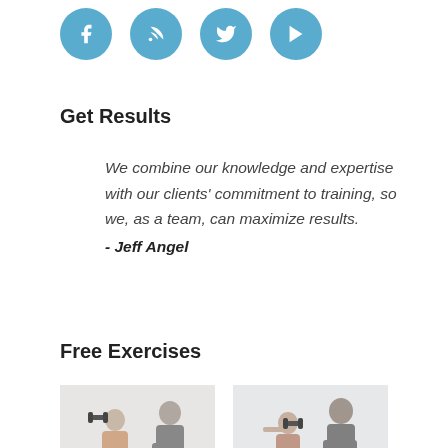[Figure (illustration): Four circular blue social media icons: Facebook (f), RSS feed, Twitter bird, YouTube play button]
Get Results
We combine our knowledge and expertise with our clients' commitment to training, so we, as a team, can maximize results.
- Jeff Angel
Free Exercises
[Figure (photo): Two exercise photos side by side showing a trainer working with a client using dumbbells]
[Figure (photo): Photo of trainer assisting a woman doing dumbbell exercises]